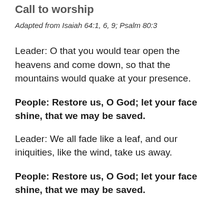Call to worship
Adapted from Isaiah 64:1, 6, 9; Psalm 80:3
Leader:  O that you would tear open the heavens and come down, so that the mountains would quake at your presence.
People: Restore us, O God; let your face shine, that we may be saved.
Leader:  We all fade like a leaf, and our iniquities, like the wind, take us away.
People:  Restore us, O God; let your face shine, that we may be saved.